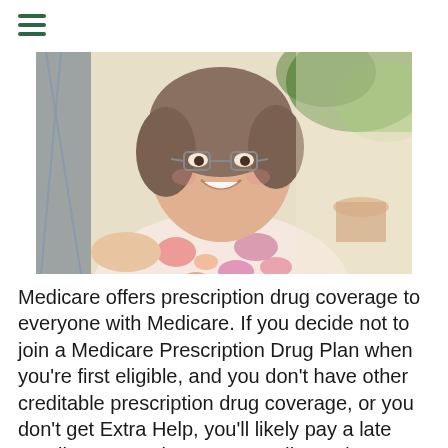[Figure (photo): Elderly woman with glasses smiling and sitting outdoors in a chair, wearing a floral top, with greenery and a terracotta pot in the background]
Medicare offers prescription drug coverage to everyone with Medicare. If you decide not to join a Medicare Prescription Drug Plan when you're first eligible, and you don't have other creditable prescription drug coverage, or you don't get Extra Help, you'll likely pay a late enrollment penalty. To get Medicare drug